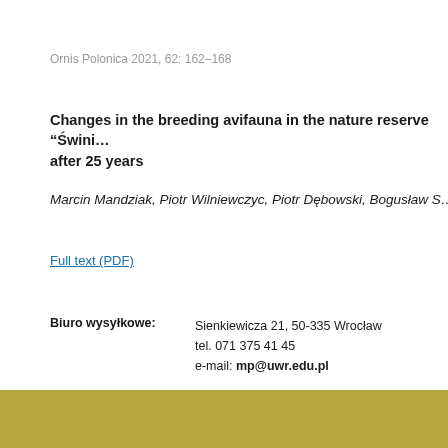Ornis Polonica 2021, 62: 162–168
Changes in the breeding avifauna in the nature reserve “Świni... after 25 years
Marcin Mandziak, Piotr Wilniewczyc, Piotr Dębowski, Bogusław S...
Full text (PDF)
This entry was posted in Numery. Bookmark the permalink.
← Issue 2021-1
Biuro wysyłkowe: Sienkiewicza 21, 50-335 Wrocław
tel. 071 375 41 45
e-mail: mp@uwr.edu.pl